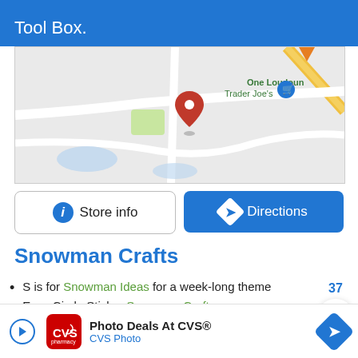[Figure (screenshot): Partial blue banner with text 'Tool Box.' on blue background]
[Figure (map): Google Maps screenshot showing One Loudoun area with Trader Joe's and a red pin marker]
[Figure (screenshot): Store info button (white, rounded) and Directions button (blue, rounded) side by side]
Snowman Crafts
S is for Snowman Ideas for a week-long theme
Easy Circle Sticker Snowman Craft
Plastic Snowman Cup Craft
EASY Glue Snowman Craft
Adorable Keepsake Snowman Handprint Ornament
Amazingly EASY Puffy Snow Paint Recipe
LOTS of Snowflake Crafts A to Z
Cute DIY Snow globes for Kids
[Figure (screenshot): 37 count and heart/save widget button on right side]
[Figure (screenshot): Blue circular search button on right side]
[Figure (screenshot): CVS Photo Deals advertisement banner at bottom with logo, text 'Photo Deals At CVS®' and 'CVS Photo', and direction arrow icon]